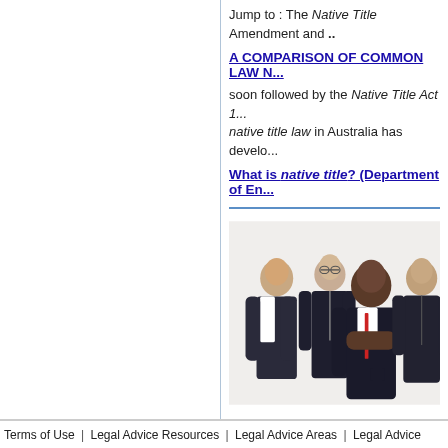Jump to : The Native Title Amendment and ..
A COMPARISON OF COMMON LAW N...
soon followed by the Native Title Act 1... native title law in Australia has develo...
What is native title? (Department of En...
[Figure (photo): Group of four diverse business professionals in suits posing together against a white background]
Terms of Use | Legal Advice Resources | Legal Advice Areas | Legal Advice Sitemap | Forum | Feeds | Lawyers & Law | Other Legal Areas | Privacy | News | Search |
Disclaimer: there are advertising laws affecting personal injury claims. By using this site you agree to